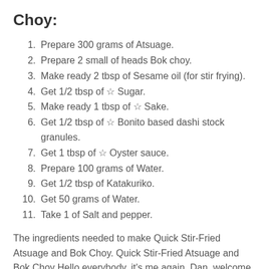Choy:
Prepare 300 grams of Atsuage.
Prepare 2 small of heads Bok choy.
Make ready 2 tbsp of Sesame oil (for stir frying).
Get 1/2 tbsp of ☆ Sugar.
Make ready 1 tbsp of ☆ Sake.
Get 1/2 tbsp of ☆ Bonito based dashi stock granules.
Get 1 tbsp of ☆ Oyster sauce.
Prepare 100 grams of Water.
Get 1/2 tbsp of Katakuriko.
Get 50 grams of Water.
Take 1 of Salt and pepper.
The ingredients needed to make Quick Stir-Fried Atsuage and Bok Choy. Quick Stir-Fried Atsuage and Bok Choy Hello everybody, it's me again, Dan, welcome to my recipe page. Today, I will show you a way to prepare a special dish, quick stir-fried